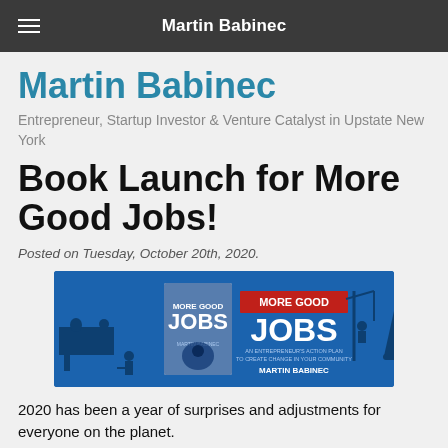Martin Babinec
Martin Babinec
Entrepreneur, Startup Investor & Venture Catalyst in Upstate New York
Book Launch for More Good Jobs!
Posted on Tuesday, October 20th, 2020.
[Figure (photo): Banner image for the book 'More Good Jobs' by Martin Babinec — blue background with silhouettes of workers and the book cover on the left.]
2020 has been a year of surprises and adjustments for everyone on the planet.